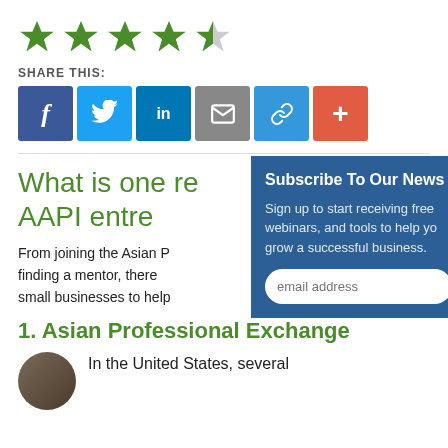[Figure (other): Five-star rating: 4.5 out of 5 green stars (four full stars and one half-filled star)]
SHARE THIS:
[Figure (other): Social sharing buttons: Facebook (blue), Twitter (light blue), LinkedIn (dark blue), Email (grey), Link (blue), More/Plus (orange-red)]
What is one re... AAPI entre...
From joining the Asian P... finding a mentor, there... small businesses to help...
[Figure (other): Subscribe To Our News panel with email address input field]
1. Asian Professional Exchange
In the United States, several